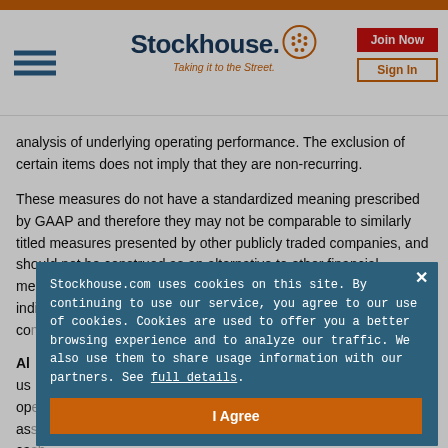[Figure (logo): Stockhouse logo with hamburger menu, logo text, tagline 'Taking it to the Street.', Join Now and Sign In buttons]
analysis of underlying operating performance. The exclusion of certain items does not imply that they are non-recurring.
These measures do not have a standardized meaning prescribed by GAAP and therefore they may not be comparable to similarly titled measures presented by other publicly traded companies, and should not be construed as an alternative to other financial measures determined in accordance with GAAP. Unless otherwise indicated, all fi... co...
Al...
us... op... as... ca...
Stockhouse.com uses cookies on this site. By continuing to use our service, you agree to our use of cookies. Cookies are used to offer you a better browsing experience and to analyze our traffic. We also use them to share usage information with our partners. See full details.